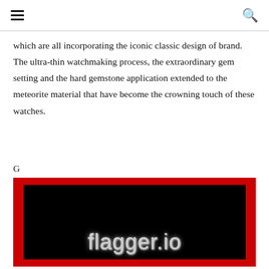☰ [menu icon] | 🔍 [search icon]
which are all incorporating the iconic classic design of brand. The ultra-thin watchmaking process, the extraordinary gem setting and the hard gemstone application extended to the meteorite material that have become the crowning touch of these watches.
G
[Figure (logo): flagger.io logo — white/grey text on black background with red border]